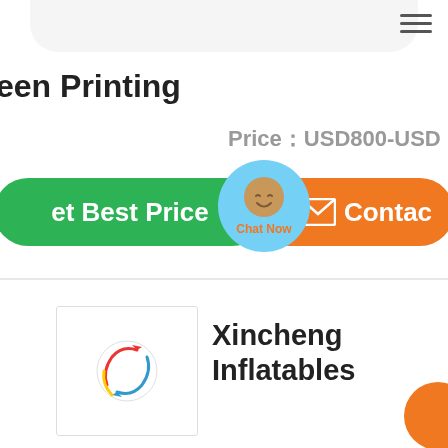een Printing
Price：USD800-USD
et Best Price
[Figure (illustration): Chat Now circular avatar overlay with blue background and face icon]
Contac
Xincheng Inflatables
[Figure (logo): Xincheng Inflatables logo with circular arrows graphic]